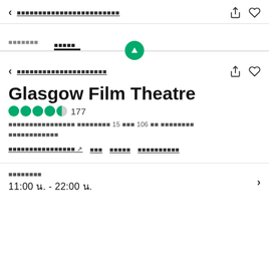< [nav link text] [share icon] [heart icon]
[tab 1] [tab 2 active]
< [nav link text] [share icon] [heart icon]
Glasgow Film Theatre
★★★★½ 177
[address text] 15 [unit] 106 [unit] [locality] [region]
[website link] ↗ [link] [link] [link]
[hours label]
11:00 น. - 22:00 น.